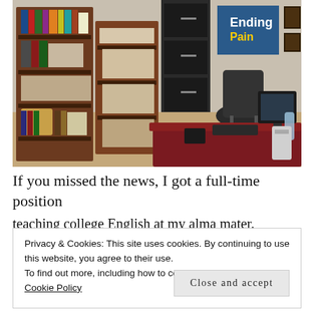[Figure (photo): Office interior with wooden bookshelves filled with books and papers, a filing cabinet, an office chair, a mahogany desk with a computer monitor and keyboard, and posters/framed items on the wall including one that reads 'Ending the Pain'.]
If you missed the news, I got a full-time position
teaching college English at my alma mater.
Privacy & Cookies: This site uses cookies. By continuing to use this website, you agree to their use.
To find out more, including how to control cookies, see here:
Cookie Policy
Close and accept